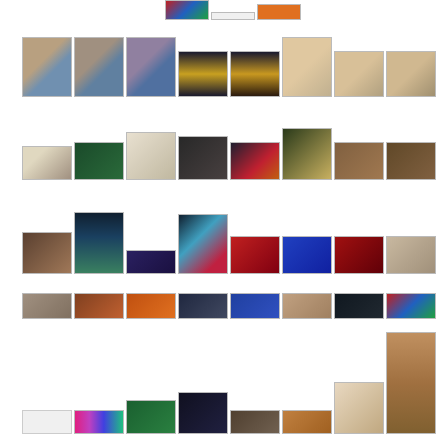[Figure (photo): Grid of thumbnail images showing artwork, portraits, gallery interiors, and art event materials arranged in multiple rows]
[Figure (photo): Row 1: Three selfie portraits of a man with crown prop, two decorative vases, three photos of a teenager]
[Figure (photo): Row 2: Art magazine/newsletter thumbnails, chess-themed artwork, call for artists flyer, gallery exhibition photos]
[Figure (photo): Row 3: Gallery interior, hot air balloon, 15 Perspectives text logo, cyberpunk figure artwork, 3D red text, blue 3D artwork, more 3D red, wall texture]
[Figure (photo): Row 4: Stone artifacts, interior architecture, orange/rust texture, crowded scene, blue abstract, portrait face, dark crowd, colorful painting]
[Figure (photo): Row 5: White space, art banner, green promotional material, dark performance photo, gallery interior, diagonal light photo, document/brochure, tall church interior painting]